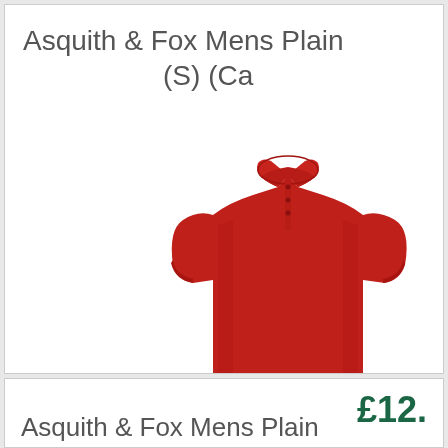Asquith & Fox Mens Plain (S) (Ca...
[Figure (photo): Red men's polo shirt (Asquith & Fox) displayed on a white background, short-sleeved with collar and button placket]
£12.
Asquith & Fox Mens Plain